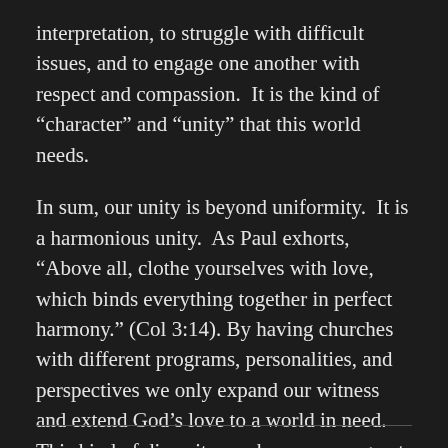interpretation, to struggle with difficult issues, and to engage one another with respect and compassion.  It is the kind of “character” and “unity” that this world needs.
In sum, our unity is beyond uniformity.  It is a harmonious unity.  As Paul exhorts, “Above all, clothe yourselves with love, which binds everything together in perfect harmony.” (Col 3:14). By having churches with different programs, personalities, and perspectives we only expand our witness and extend God’s love to a world in need.  This kind of diversity can be seen as a great blessing.